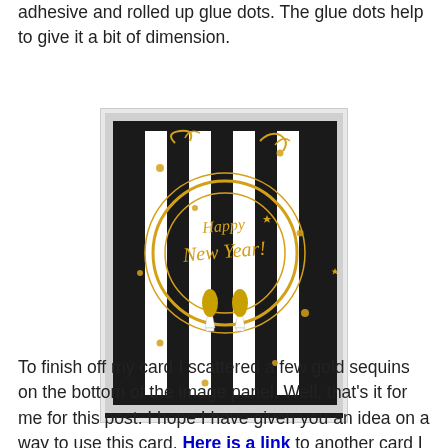adhesive and rolled up glue dots. The glue dots help to give it a bit of dimension.
[Figure (photo): A handmade greeting card with black and white vertical stripes background, a gold decorative circular die cut with 'Happy New Year' text in script, gold confetti dots, gold glitter champagne glasses at the bottom, placed on a black card base on a gray grid mat.]
To finish off my card I scattered a few gold sequins on the bottom of the image panel. Well, that's it for me for this post. I hope I have given you an idea on a way to use this card. Here is a link to another card I created using this die. Happy